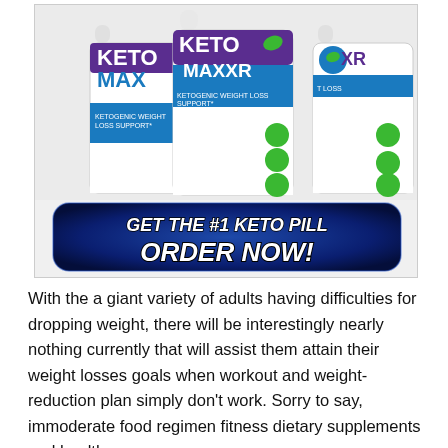[Figure (photo): Three white supplement bottles labeled 'Keto Max XR - Ketogenic Weight Loss Support' arranged side by side with a blue call-to-action button below reading 'GET THE #1 KETO PILL ORDER NOW!']
With the a giant variety of adults having difficulties for dropping weight, there will be interestingly nearly nothing currently that will assist them attain their weight losses goals when workout and weight-reduction plan simply don't work. Sorry to say, immoderate food regimen fitness dietary supplements and health